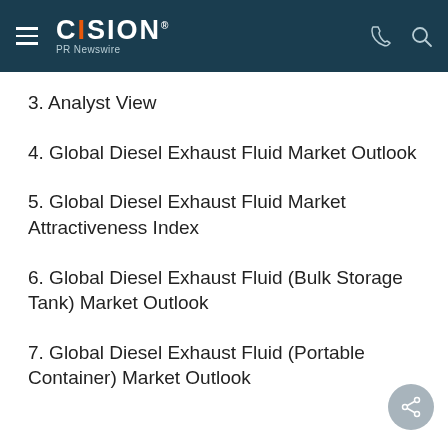CISION PR Newswire
3. Analyst View
4. Global Diesel Exhaust Fluid Market Outlook
5. Global Diesel Exhaust Fluid Market Attractiveness Index
6. Global Diesel Exhaust Fluid (Bulk Storage Tank) Market Outlook
7. Global Diesel Exhaust Fluid (Portable Container) Market Outlook